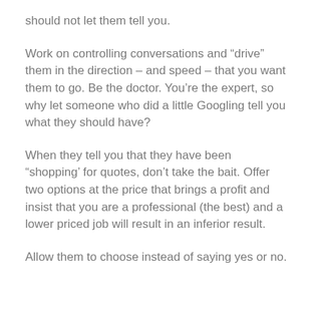should not let them tell you.
Work on controlling conversations and “drive” them in the direction – and speed – that you want them to go. Be the doctor. You’re the expert, so why let someone who did a little Googling tell you what they should have?
When they tell you that they have been “shopping’ for quotes, don’t take the bait. Offer two options at the price that brings a profit and insist that you are a professional (the best) and a lower priced job will result in an inferior result.
Allow them to choose instead of saying yes or no.